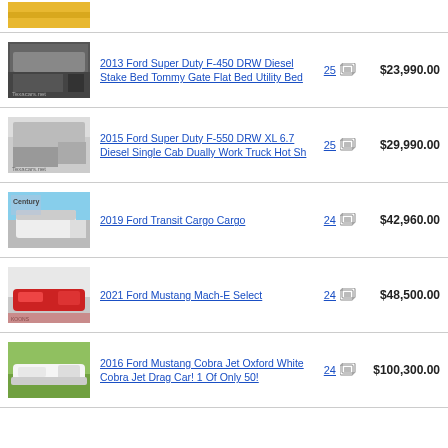[Figure (photo): Partial yellow truck listing image (cropped at top of page)]
2013 Ford Super Duty F-450 DRW Diesel Stake Bed Tommy Gate Flat Bed Utility Bed — 25 photos — $23,990.00
2015 Ford Super Duty F-550 DRW XL 6.7 Diesel Single Cab Dually Work Truck Hot Sh — 25 photos — $29,990.00
2019 Ford Transit Cargo Cargo — 24 photos — $42,960.00
2021 Ford Mustang Mach-E Select — 24 photos — $48,500.00
2016 Ford Mustang Cobra Jet Oxford White Cobra Jet Drag Car! 1 Of Only 50! — 24 photos — $100,300.00